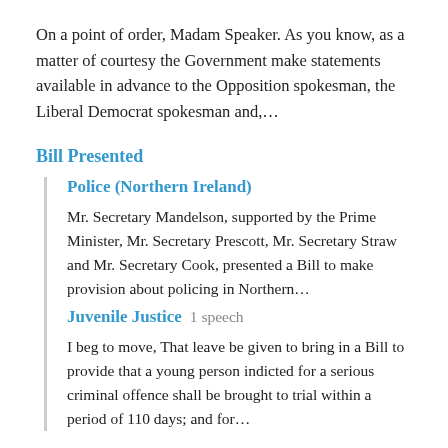On a point of order, Madam Speaker. As you know, as a matter of courtesy the Government make statements available in advance to the Opposition spokesman, the Liberal Democrat spokesman and,…
Bill Presented
Police (Northern Ireland)
Mr. Secretary Mandelson, supported by the Prime Minister, Mr. Secretary Prescott, Mr. Secretary Straw and Mr. Secretary Cook, presented a Bill to make provision about policing in Northern…
Juvenile Justice  1 speech
I beg to move, That leave be given to bring in a Bill to provide that a young person indicted for a serious criminal offence shall be brought to trial within a period of 110 days; and for…